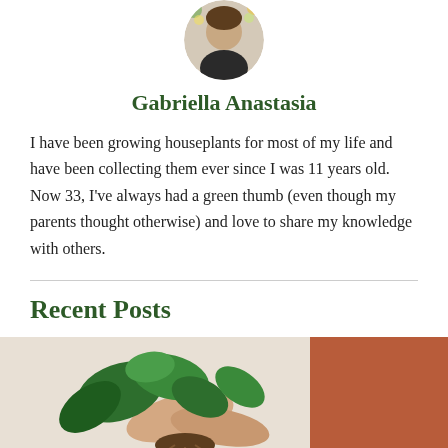[Figure (photo): Circular avatar photo of Gabriella Anastasia, a woman among flowers/plants]
Gabriella Anastasia
I have been growing houseplants for most of my life and have been collecting them ever since I was 11 years old.  Now 33, I've always had a green thumb (even though my parents thought otherwise) and love to share my knowledge with others.
Recent Posts
[Figure (photo): Hands holding a green houseplant with roots, person wearing orange/rust colored clothing, light background]